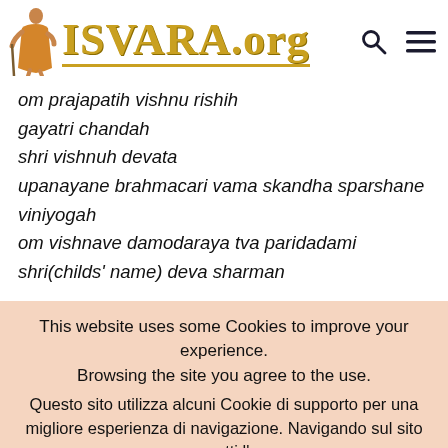[Figure (logo): ISVARA.org website logo with monk figure and gold text]
om prajapatih vishnu rishih
gayatri chandah
shri vishnuh devata
upanayane brahmacari vama skandha sparshane viniyogah
om vishnave damodaraya tva paridadami shri(childs' name) deva sharman
This website uses some Cookies to improve your experience. Browsing the site you agree to the use.
Questo sito utilizza alcuni Cookie di supporto per una migliore esperienza di navigazione. Navigando sul sito ne accetti l'uso.
Read More   OK Close   Cookie Settings
English